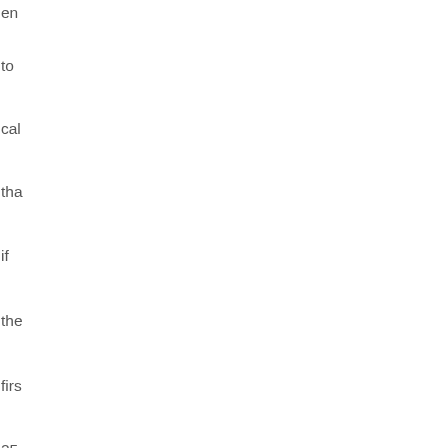en
to
cal
tha
if
the
firs
25
cus
tha
No
ha
on
Sy
co
onl
be
co